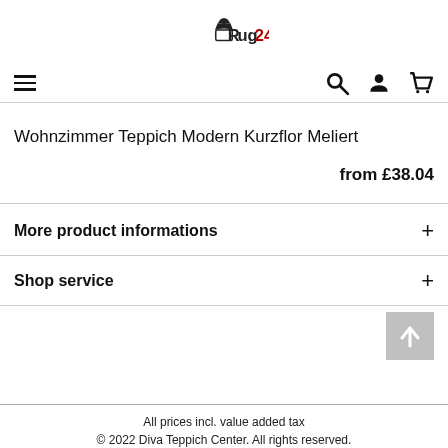Rug24
Wohnzimmer Teppich Modern Kurzflor Meliert
from £38.04
More product informations
Shop service
All prices incl. value added tax
© 2022 Diva Teppich Center. All rights reserved.